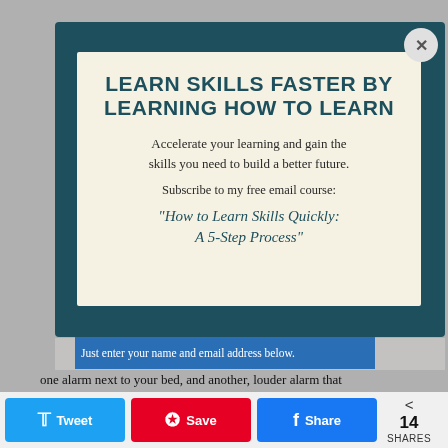LEARN SKILLS FASTER BY LEARNING HOW TO LEARN
Accelerate your learning and gain the skills you need to build a better future.
Subscribe to my free email course:
"How to Learn Skills Quickly: A 5-Step Process"
Just enter your name and email address below.
one alarm next to your bed, and another, louder alarm that will ring a minute later across the room.
[Figure (screenshot): Social share bar with Twitter, Pinterest, and Facebook buttons and a share count of 14]